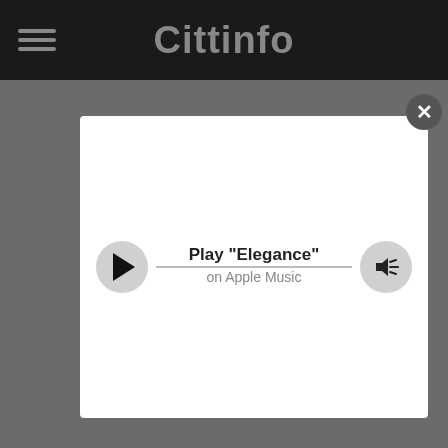Cittinfo
[Figure (screenshot): Apple Music player modal overlay with play button, progress bar, volume button, showing Play "Elegance" on Apple Music, with a close (X) button in the top-right corner of the modal.]